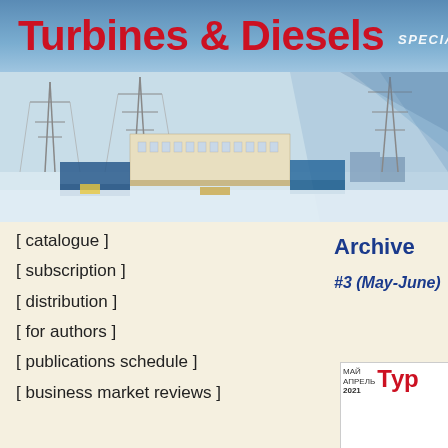Turbines & Diesels — SPECIALIZED INF
[Figure (photo): Industrial facility with power plant buildings, transmission towers, and blue equipment modules in a snowy winter landscape]
[ catalogue ]
[ subscription ]
[ distribution ]
[ for authors ]
[ publications schedule ]
[ business market reviews ]
Archive
#3 (May-June)
[Figure (photo): Thumbnail cover of Turbines & Diesels magazine issue showing red title text and issue date 2021]